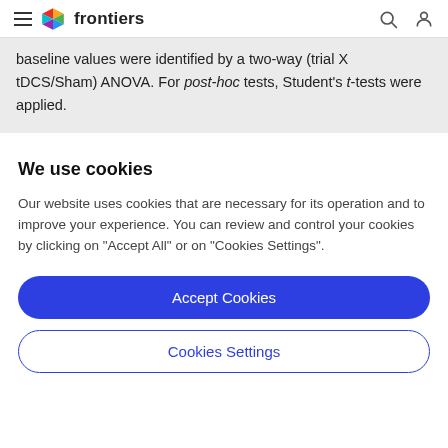frontiers
baseline values were identified by a two-way (trial X tDCS/Sham) ANOVA. For post-hoc tests, Student's t-tests were applied.
We use cookies
Our website uses cookies that are necessary for its operation and to improve your experience. You can review and control your cookies by clicking on "Accept All" or on "Cookies Settings".
Accept Cookies
Cookies Settings